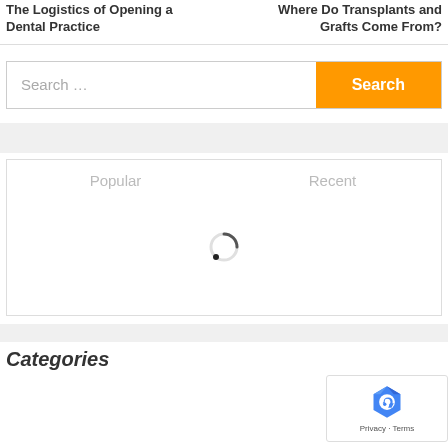The Logistics of Opening a Dental Practice
Where Do Transplants and Grafts Come From?
[Figure (screenshot): Search bar with text input field showing placeholder 'Search ...' and an orange 'Search' button]
[Figure (screenshot): Content widget box with 'Popular' and 'Recent' tabs and a loading spinner in the center]
Categories
[Figure (screenshot): reCAPTCHA badge with logo and 'Privacy - Terms' text]